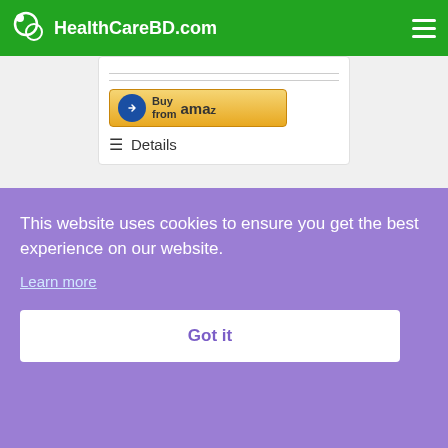HealthCareBD.com
[Figure (screenshot): Amazon 'Buy from amazon' button partially visible in a product card]
≡ Details
[Figure (photo): Close-up photo of human toes/foot with a toe spacer product]
This website uses cookies to ensure you get the best experience on our website.
Learn more
Got it
Spacer – 4 Pack